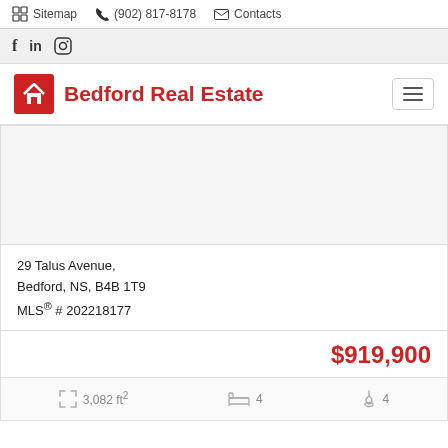Sitemap  (902) 817-8178  Contacts
f  in  (instagram icon)
Bedford Real Estate
[Figure (logo): Bedford Real Estate logo - red square with white house icon]
29 Talus Avenue,
Bedford, NS, B4B 1T9
MLS® # 202218177
$919,900
3,082 ft²  4 bedrooms  4 bathrooms